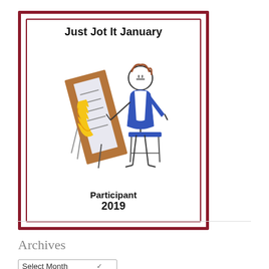[Figure (illustration): Just Jot It January 2019 Participant badge. A dark red double-border square frame containing the text 'Just Jot It January' at the top, a hand-drawn stick figure person sitting at an easel/drawing board with a yellow flame or writing on the canvas, and text 'Participant 2019' at the bottom.]
Archives